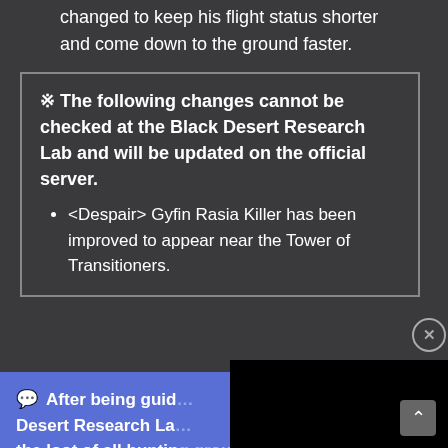changed to keep his flight status shorter and come down to the ground faster.
※ The following changes cannot be checked at the Black Desert Research Lab and will be updated on the official server.
<Despair> Gyfin Rasia Killer has been improved to appear near the Tower of Transitioners.
[Figure (screenshot): Black overlay panel covering right portion of the blue popup]
💬 After being guid... Desert Research La... the loot of all hunting grounds applied to the Korean official serve... and adding features for each hunting ground, we have confirmed that